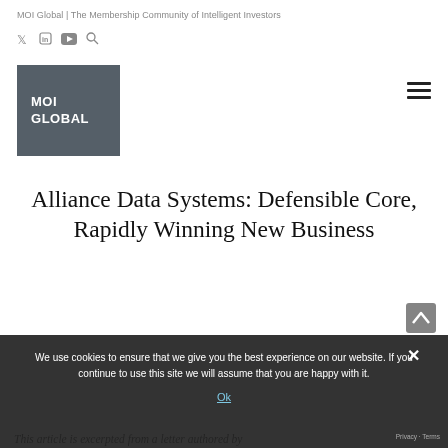MOI Global | The Membership Community of Intelligent Investors
[Figure (logo): MOI Global logo — dark gray square block with white bold text reading MOI GLOBAL]
Alliance Data Systems: Defensible Core, Rapidly Winning New Business
We use cookies to ensure that we give you the best experience on our website. If you continue to use this site we will assume that you are happy with it.
Ok
This article is excerpted from a letter authored by